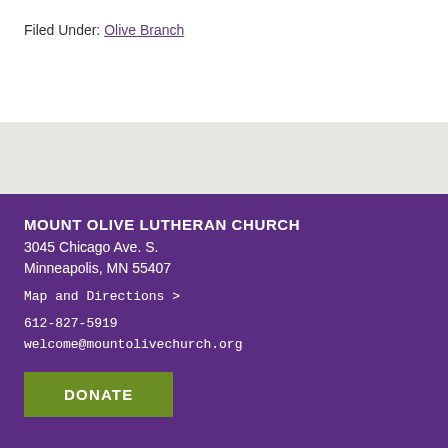Filed Under: Olive Branch
MOUNT OLIVE LUTHERAN CHURCH
3045 Chicago Ave. S.
Minneapolis, MN 55407
Map and Directions >
612-827-5919
welcome@mountolivechurch.org
DONATE